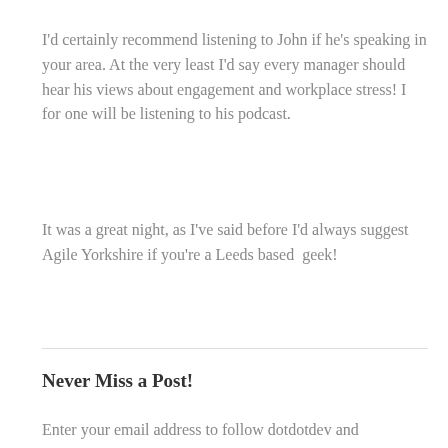I'd certainly recommend listening to John if he's speaking in your area. At the very least I'd say every manager should hear his views about engagement and workplace stress! I for one will be listening to his podcast.
It was a great night, as I've said before I'd always suggest Agile Yorkshire if you're a Leeds based geek!
Never Miss a Post!
Enter your email address to follow dotdotdev and